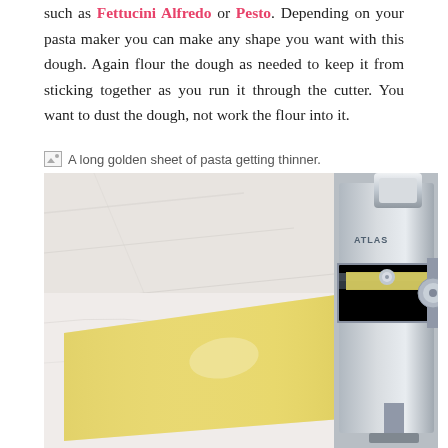such as Fettucini Alfredo or Pesto. Depending on your pasta maker you can make any shape you want with this dough. Again flour the dough as needed to keep it from sticking together as you run it through the cutter. You want to dust the dough, not work the flour into it.
[Figure (photo): A long golden sheet of pasta getting thinner through a silver pasta maker/roller machine on a white marble surface.]